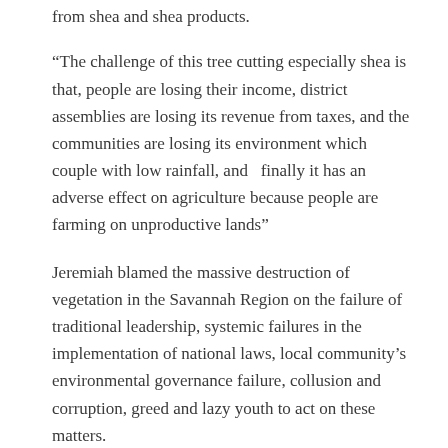from shea and shea products.
“The challenge of this tree cutting especially shea is that, people are losing their income, district assemblies are losing its revenue from taxes, and the communities are losing its environment which couple with low rainfall, and   finally it has an adverse effect on agriculture because people are farming on unproductive lands”
Jeremiah blamed the massive destruction of vegetation in the Savannah Region on the failure of traditional leadership, systemic failures in the implementation of national laws, local community’s environmental governance failure, collusion and corruption, greed and lazy youth to act on these matters.